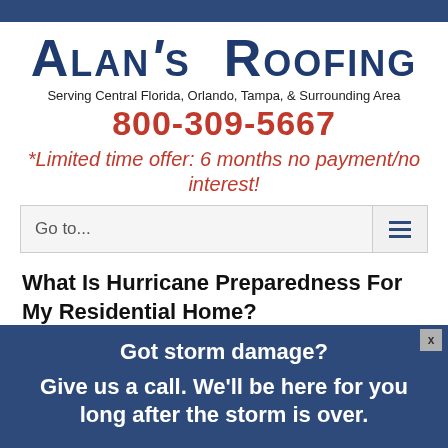[Figure (logo): Alan's Roofing company logo in dark navy blue large bold small-caps text]
Serving Central Florida, Orlando, Tampa, & Surrounding Area
800-309-5667
*Limited time offer: 6 months no payment/no interest!
Go to...
What Is Hurricane Preparedness For My Residential Home?
Got storm damage?
Give us a call. We'll be here for you long after the storm is over.